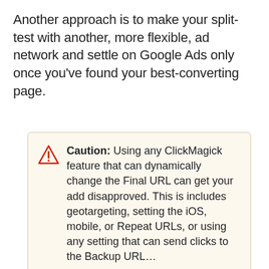Another approach is to make your split-test with another, more flexible, ad network and settle on Google Ads only once you've found your best-converting page.
Caution: Using any ClickMagick feature that can dynamically change the Final URL can get your add disapproved. This is includes geotargeting, setting the iOS, mobile, or Repeat URLs, or using any setting that can send clicks to the Backup URL…